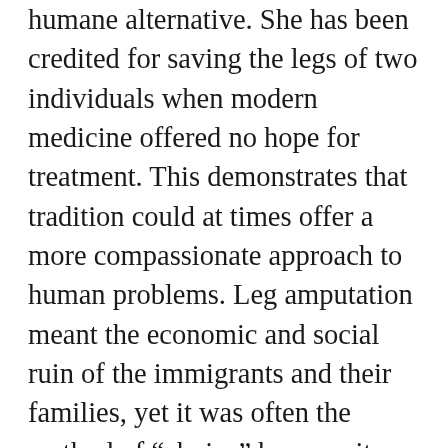humane alternative. She has been credited for saving the legs of two individuals when modern medicine offered no hope for treatment. This demonstrates that tradition could at times offer a more compassionate approach to human problems. Leg amputation meant the economic and social ruin of the immigrants and their families, yet it was often the method of “choice” because it was cost-effective. “Amputations were hastily performed” and immigrants “felt they were coldly treated, like animals, not human beings” (1996:163). In an era of